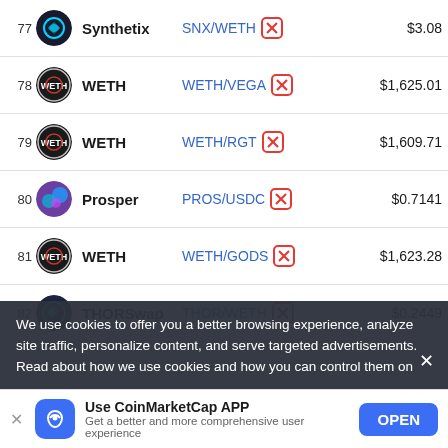| # | Name | Pair | Price |
| --- | --- | --- | --- |
| 77 | Synthetix | SNX/WETH | $3.08 |
| 78 | WETH | WETH/VEGA | $1,625.01 |
| 79 | WETH | WETH/RGT | $1,609.71 |
| 80 | Prosper | PROS/USDC | $0.7141 |
| 81 | WETH | WETH/GODS | $1,623.28 |
| 82 | THORSwap | THOR/WETH | $0.2449 |
| 83 | Keep3rV1 | KP3R/WETH | $125.75 |
We use cookies to offer you a better browsing experience, analyze site traffic, personalize content, and serve targeted advertisements. Read about how we use cookies and how you can control them on
Use CoinMarketCap APP
Get a better and more comprehensive user experience